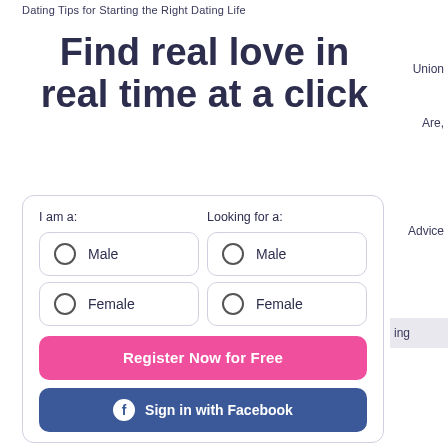Dating Tips for Starting the Right Dating Life
Find real love in real time at a click
Union
Are,
Advice
ing
I am a:
Looking for a:
Male | Male
Female | Female
Register Now for Free
Sign in with Facebook